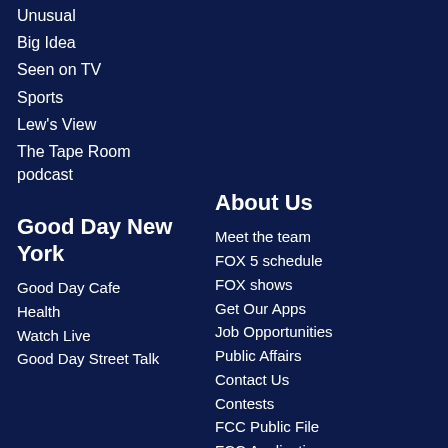Unusual
Big Idea
Seen on TV
Sports
Lew's View
The Tape Room podcast
Good Day New York
Good Day Cafe
Health
Watch Live
Good Day Street Talk
About Us
Meet the team
FOX 5 schedule
FOX shows
Get Our Apps
Job Opportunities
Public Affairs
Contact Us
Contests
FCC Public File
FCC Applications